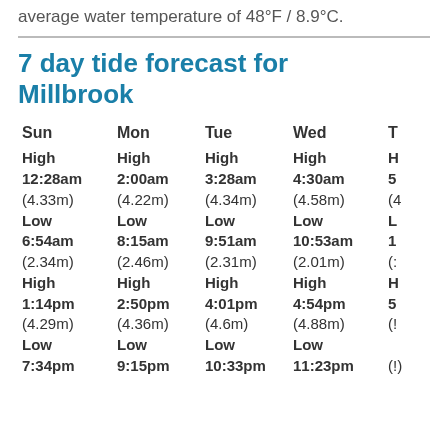average water temperature of 48°F / 8.9°C.
7 day tide forecast for Millbrook
| Sun | Mon | Tue | Wed | T(hu) |
| --- | --- | --- | --- | --- |
| High | High | High | High | H... |
| 12:28am | 2:00am | 3:28am | 4:30am | 5... |
| (4.33m) | (4.22m) | (4.34m) | (4.58m) | (4... |
| Low | Low | Low | Low | L... |
| 6:54am | 8:15am | 9:51am | 10:53am | 1... |
| (2.34m) | (2.46m) | (2.31m) | (2.01m) | (... |
| High | High | High | High | H... |
| 1:14pm | 2:50pm | 4:01pm | 4:54pm | 5... |
| (4.29m) | (4.36m) | (4.6m) | (4.88m) | (... |
| Low | Low | Low | Low | (... |
| 7:34pm | 9:15pm | 10:33pm | 11:23pm | (... |